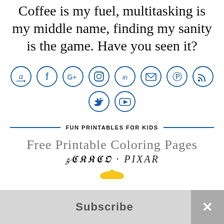Coffee is my fuel, multitasking is my middle name, finding my sanity is the game. Have you seen it?
[Figure (other): Row of social media icons in blue circles: Amazon, Facebook, Google+, Instagram, LinkedIn, Email, Pinterest, RSS]
[Figure (other): Row of social media icons in blue circles: Twitter, YouTube]
FUN PRINTABLES FOR KIDS
Free Printable Coloring Pages
Disney · PIXAR
Subscribe